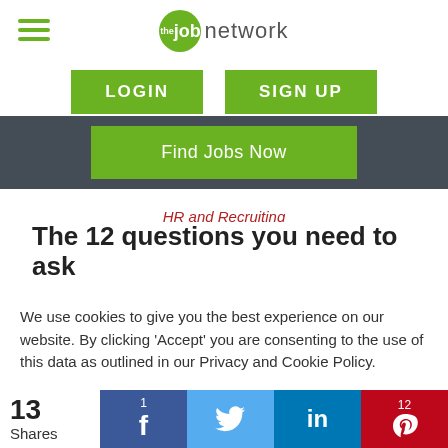the job network — LOGIN | SIGN UP
Find Jobs Now
HR and Recruiting
The 12 questions you need to ask
We use cookies to give you the best experience on our website. By clicking 'Accept' you are consenting to the use of this data as outlined in our Privacy and Cookie Policy.
Accept
13 Shares  1  12